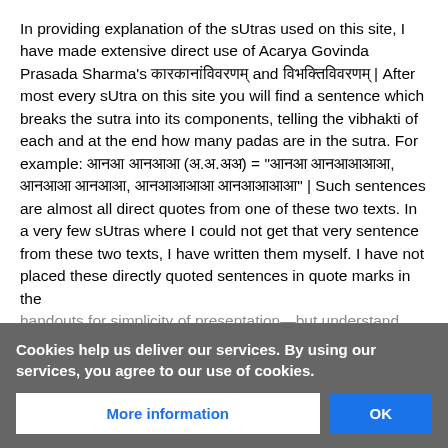In providing explanation of the sUtras used on this site, I have made extensive direct use of Acarya Govinda Prasada Sharma's [Sanskrit] and [Sanskrit] | After most every sUtra on this site you will find a sentence which breaks the sutra into its components, telling the vibhakti of each and at the end how many padas are in the sutra. For example: [Sanskrit] ([Sanskrit]) = "[Sanskrit], [Sanskrit] [Sanskrit], [Sanskrit] [Sanskrit]" | Such sentences are almost all direct quotes from one of these two texts. In a very few sUtras where I could not get that very sentence from these two texts, I have written them myself. I have not placed these directly quoted sentences in quote marks in the handouts for simplicity of presentation—but understand that these are straight quotes from Acaryaji's texts. I am very indebted indeed to Acarya Govinda Prasada Sharmaji for his straightforward and concise writing style
Cookies help us deliver our services. By using our services, you agree to our use of cookies.